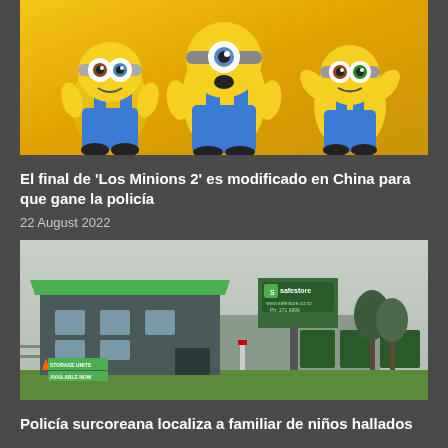[Figure (photo): Three Minion characters (from Despicable Me/Minions movie) in costume, yellow with blue overalls, standing together]
El final de 'Los Minions 2' es modificado en China para que gane la policía
22 August 2022
[Figure (photo): Safestore storage facility building with green roof and signage, a grey commercial building]
Policía surcoreana localiza a familiar de niños hallados